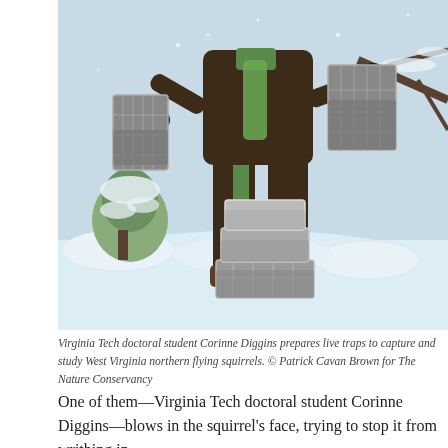[Figure (photo): Person in dark brown winter clothes and green scarf holding animal traps in a snowy outdoor setting, standing over stacked wire/metal traps in the snow.]
Virginia Tech doctoral student Corinne Diggins prepares live traps to capture and study West Virginia northern flying squirrels. © Patrick Cavan Brown for The Nature Conservancy
One of them—Virginia Tech doctoral student Corinne Diggins—blows in the squirrel's face, trying to stop it from writhing in